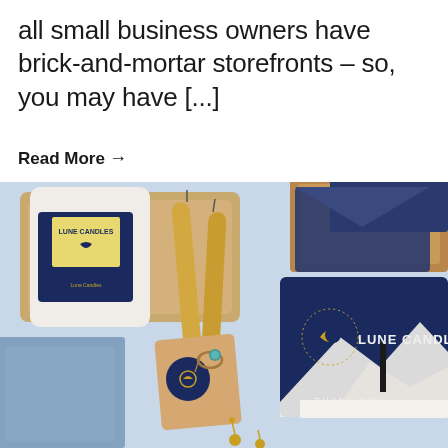all small business owners have brick-and-mortar storefronts – so, you may have [...]
Read More →
[Figure (photo): Flat lay product photo of Lune Candles brand items on a light blue background: a white jar candle with navy and gold label on a wooden tray, two tall beeswax taper candles tied together in kraft paper with a moon logo sticker, a navy blue greeting card with gold moon/sun logo reading 'LUNE CANDLES' and '• THANK YOU •', a navy envelope, a brown kraft box, and blue paper sheets. Small gold earrings visible at bottom.]